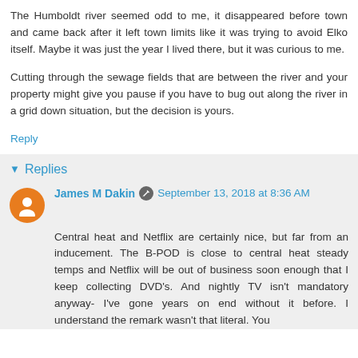The Humboldt river seemed odd to me, it disappeared before town and came back after it left town limits like it was trying to avoid Elko itself. Maybe it was just the year I lived there, but it was curious to me.
Cutting through the sewage fields that are between the river and your property might give you pause if you have to bug out along the river in a grid down situation, but the decision is yours.
Reply
Replies
James M Dakin  September 13, 2018 at 8:36 AM
Central heat and Netflix are certainly nice, but far from an inducement. The B-POD is close to central heat steady temps and Netflix will be out of business soon enough that I keep collecting DVD's. And nightly TV isn't mandatory anyway- I've gone years on end without it before. I understand the remark wasn't that literal. You